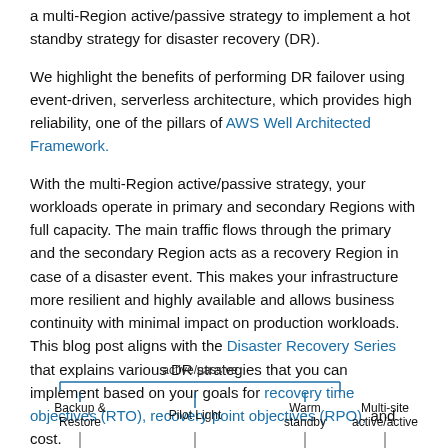a multi-Region active/passive strategy to implement a hot standby strategy for disaster recovery (DR).
We highlight the benefits of performing DR failover using event-driven, serverless architecture, which provides high reliability, one of the pillars of AWS Well Architected Framework.
With the multi-Region active/passive strategy, your workloads operate in primary and secondary Regions with full capacity. The main traffic flows through the primary and the secondary Region acts as a recovery Region in case of a disaster event. This makes your infrastructure more resilient and highly available and allows business continuity with minimal impact on production workloads. This blog post aligns with the Disaster Recovery Series that explains various DR strategies that you can implement based on your goals for recovery time objectives (RTO), recovery point objectives (RPO), and cost.
[Figure (infographic): Diagram showing DR strategies on a spectrum: active/passive bracket covers Backup & Restore, Pilot Light, Warm standby; Multi-site active/active is outside the bracket on the right.]